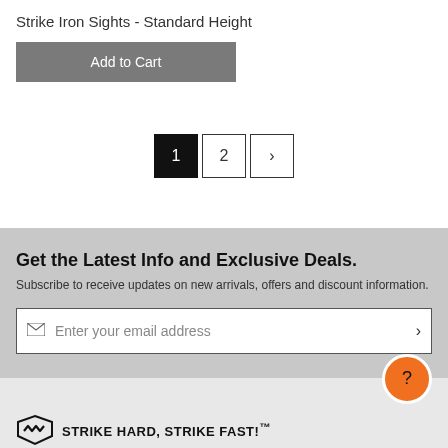Strike Iron Sights - Standard Height
Add to Cart
[Figure (other): Pagination controls with pages 1 (active/black), 2, and next arrow (>)]
Get the Latest Info and Exclusive Deals.
Subscribe to receive updates on new arrivals, offers and discount information.
Enter your email address
[Figure (logo): Strike Industries logo with zigzag badge icon and text STRIKE HARD, STRIKE FAST!™]